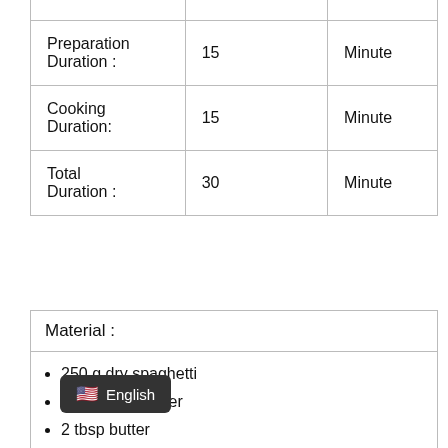|  |  |  |
| --- | --- | --- |
|  |  |  |
| Preparation Duration : | 15 | Minute |
| Cooking Duration: | 15 | Minute |
| Total Duration : | 30 | Minute |
Material :
250 g dry spaghetti
2.5 liters of water
2 tbsp butter
2 cloves garlic, chopped
30 [onion, chopped
[piece]s of beef sausage, cut into